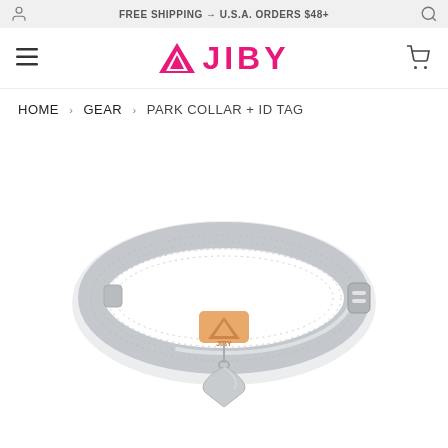FREE SHIPPING → U.S.A. ORDERS $48+
[Figure (logo): JIBY brand logo with pink mountain/tent icon and bold pink JIBY text]
HOME › GEAR › PARK COLLAR + ID TAG
[Figure (photo): Gray nylon dog collar with an orange JIBY branded patch and a silver arrow-shaped ID tag charm hanging from it]